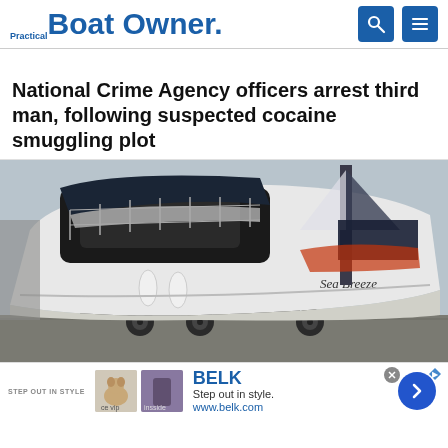Practical Boat Owner
National Crime Agency officers arrest third man, following suspected cocaine smuggling plot
[Figure (photo): A white motorboat named 'Sea Breeze' sitting on a trailer in a boatyard, with sailboats visible in the background under overcast skies.]
[Figure (other): Advertisement for BELK: 'Step out in style. www.belk.com' with thumbnail images and a blue arrow button.]